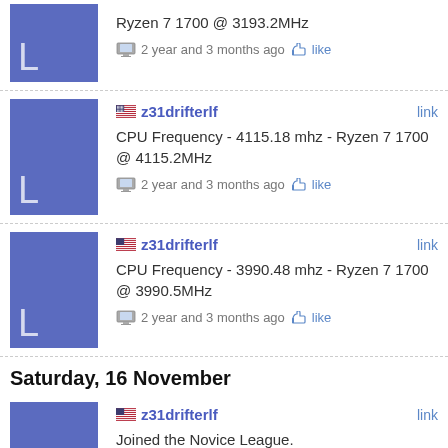Ryzen 7 1700 @ 3193.2MHz
2 year and 3 months ago like
z31drifterlf link
CPU Frequency - 4115.18 mhz - Ryzen 7 1700 @ 4115.2MHz
2 year and 3 months ago like
z31drifterlf link
CPU Frequency - 3990.48 mhz - Ryzen 7 1700 @ 3990.5MHz
2 year and 3 months ago like
Saturday, 16 November
z31drifterlf link
Joined the Novice League.
2 year and 10 months ago like